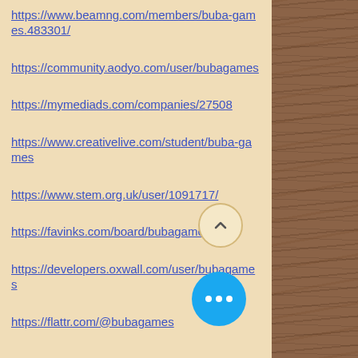https://www.beamng.com/members/buba-games.483301/
https://community.aodyo.com/user/bubagames
https://mymediads.com/companies/27508
https://www.creativelive.com/student/buba-games
https://www.stem.org.uk/user/1091717/
https://favinks.com/board/bubagames/
https://developers.oxwall.com/user/bubagames
https://flattr.com/@bubagames